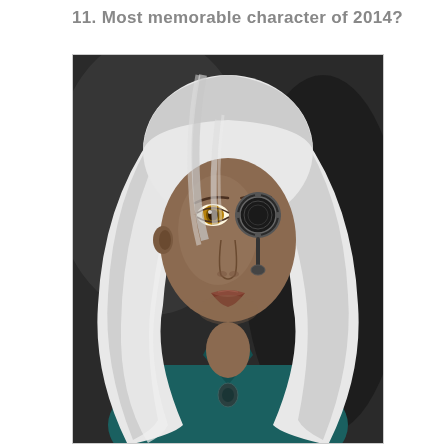11. Most memorable character of 2014?
[Figure (illustration): Digital illustration portrait of a fantasy/steampunk female character with long white hair, dark skin, one golden eye visible, wearing a mechanical monocle/eyepatch over the other eye, and a teal high-collared jacket with a pendant. The background is dark gray. The art style is realistic digital painting.]